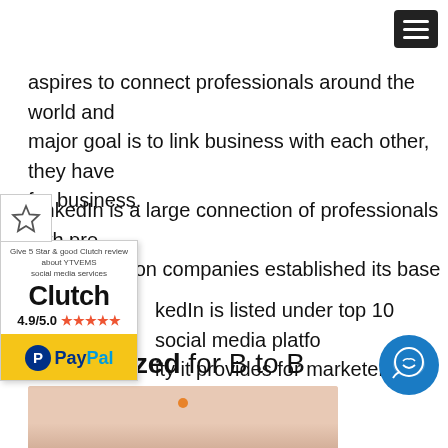aspires to connect professionals around the world and major goal is to link business with each other, they have for business.
LinkedIn is a large connection of professionals with pre than 55 million companies established its base on Linke
kedIn is listed under top 10 social media platfo ity it provides for marketers to connect with p
[Figure (infographic): Clutch review widget showing 4.9/5.0 star rating and PayPal badge]
Specialized for B to B
[Figure (photo): Bottom image strip with pinkish/peach background, partially visible]